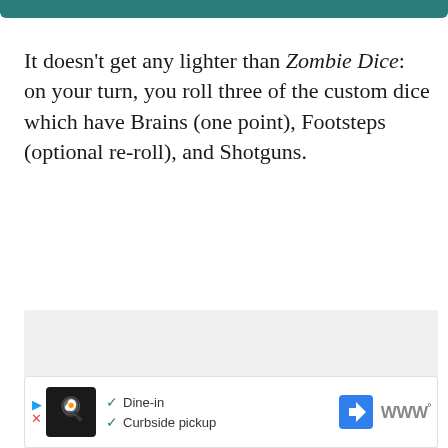It doesn't get any lighter than Zombie Dice: on your turn, you roll three of the custom dice which have Brains (one point), Footsteps (optional re-roll), and Shotguns.
[Figure (other): Gray placeholder box for an embedded image or content block]
[Figure (other): Advertisement bar showing restaurant icon with Dine-in and Curbside pickup options]